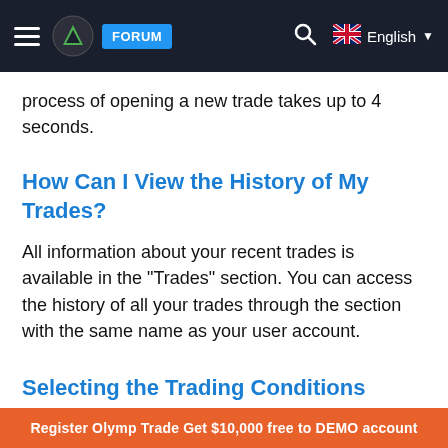FORUM | English
process of opening a new trade takes up to 4 seconds.
How Can I View the History of My Trades?
All information about your recent trades is available in the “Trades” section. You can access the history of all your trades through the section with the same name as your user account.
Selecting the Trading Conditions
Register Olymp Trade Get $10,000 free to DEMO account